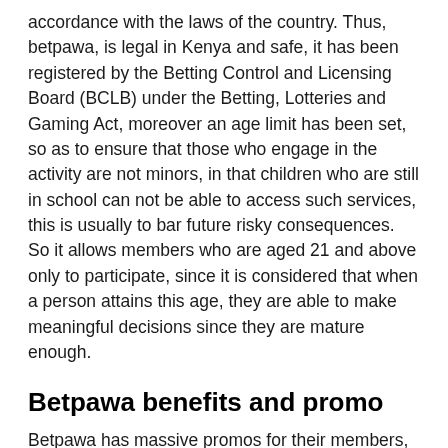accordance with the laws of the country. Thus, betpawa, is legal in Kenya and safe, it has been registered by the Betting Control and Licensing Board (BCLB) under the Betting, Lotteries and Gaming Act, moreover an age limit has been set, so as to ensure that those who engage in the activity are not minors, in that children who are still in school can not be able to access such services, this is usually to bar future risky consequences. So it allows members who are aged 21 and above only to participate, since it is considered that when a person attains this age, they are able to make meaningful decisions since they are mature enough.
Betpawa benefits and promo
Betpawa has massive promos for their members, this is one of the features that makes it to stand out, it offers a refer to a friend promo, where you get to be recognized and awarded for referring a friend of yours to them, such an incredible mechanism right? You'll be able to be awarded upto cash